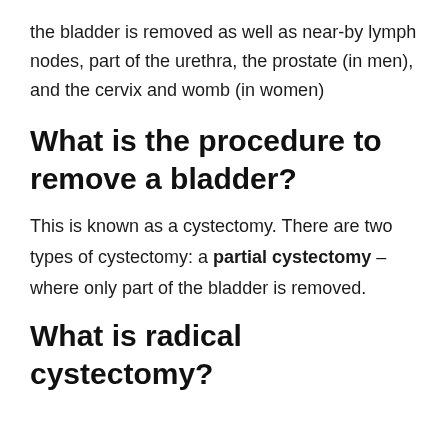the bladder is removed as well as near-by lymph nodes, part of the urethra, the prostate (in men), and the cervix and womb (in women)
What is the procedure to remove a bladder?
This is known as a cystectomy. There are two types of cystectomy: a partial cystectomy – where only part of the bladder is removed.
What is radical cystectomy?